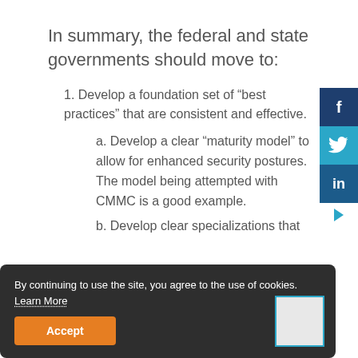In summary, the federal and state governments should move to:
1. Develop a foundation set of “best practices” that are consistent and effective.
a. Develop a clear “maturity model” to allow for enhanced security postures. The model being attempted with CMMC is a good example.
b. Develop clear specializations that
By continuing to use the site, you agree to the use of cookies. Learn More
Accept